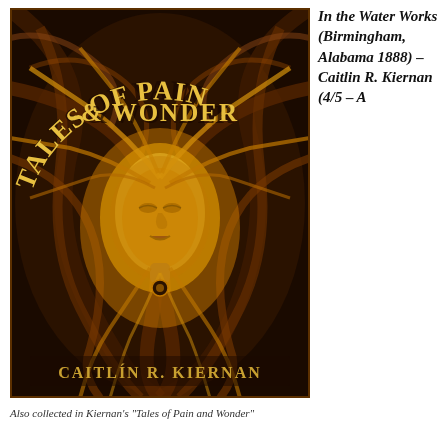[Figure (illustration): Book cover of 'Tales of Pain and Wonder' by Caitlín R. Kiernan. Dark background with swirling organic patterns in browns and oranges. A woman's face with closed eyes and flowing hair radiates light in golden yellow tones. Title text 'TALES OF PAIN & WONDER' arcs across the top in golden letters. Author name 'CAITLÍN R. KIERNAN' appears at the bottom in golden letters.]
In the Water Works (Birmingham, Alabama 1888) – Caitlin R. Kiernan (4/5 – A
Also collected in Kiernan's "Tales of Pain and Wonder"